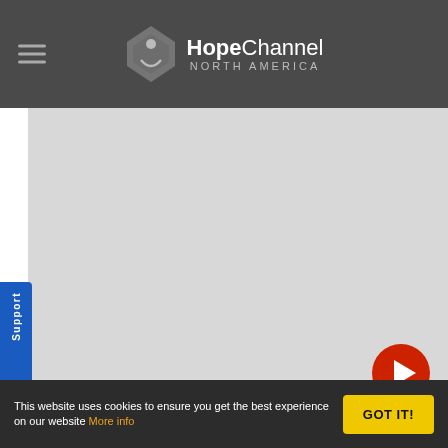HopeChannel NORTH AMERICA
[Figure (screenshot): Video thumbnail placeholder — light grey area with a red circular play button in the bottom-right corner]
WAKE UP WITH HOPE / 0 LIKES
Wake Up with Hope July 23, 2021
Start your day positively! Wake up With Hope prepared a unique program that you won't want to miss. In this episode, you will have Dr. Carlton Byrd sharing a positive message
This website uses cookies to ensure you get the best experience on our website More info